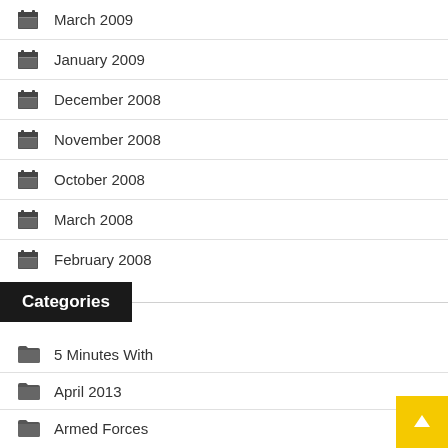March 2009
January 2009
December 2008
November 2008
October 2008
March 2008
February 2008
Categories
5 Minutes With
April 2013
Armed Forces